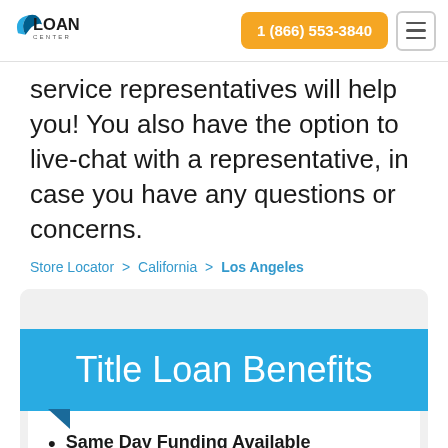Loan Center | 1 (866) 553-3840
service representatives will help you! You also have the option to live-chat with a representative, in case you have any questions or concerns.
Store Locator > California > Los Angeles
Title Loan Benefits
Same Day Funding Available